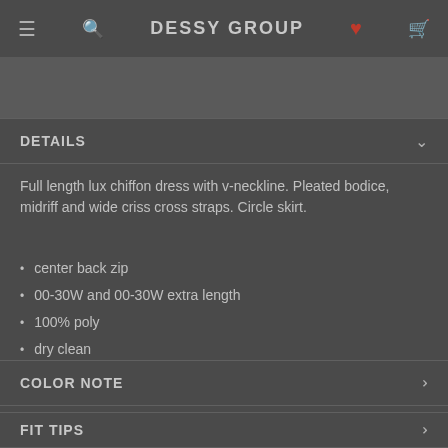DESSY GROUP
DETAILS
Full length lux chiffon dress with v-neckline. Pleated bodice, midriff and wide criss cross straps. Circle skirt.
center back zip
00-30W and 00-30W extra length
100% poly
dry clean
imported
COLOR NOTE
FIT TIPS